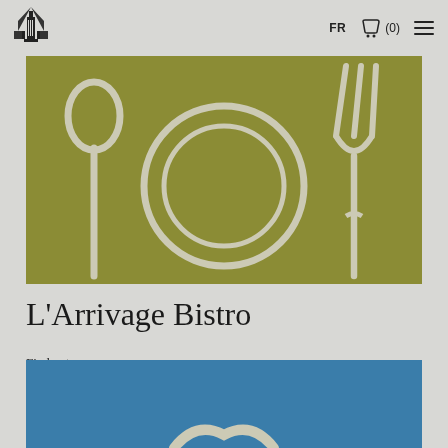[Figure (logo): Black architectural/geometric logo mark in top left corner]
FR  (0)  ≡
[Figure (illustration): Olive/khaki green banner with white line-art illustration of a spoon, plate/circle, and fork on an olive green background]
L'Arrivage Bistro
Find out more →
[Figure (illustration): Blue banner partially visible at bottom with white decorative element (appears to be a heart or infinity shape)]